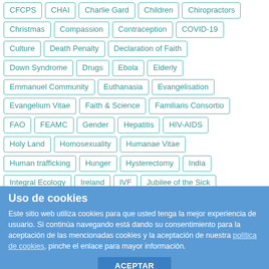CFCPS
CHAI
Charlie Gard
Children
Chiropractors
Christmas
Compassion
Contraception
COVID-19
Culture
Death Penalty
Declaration of Faith
Down Syndrome
Drugs
Ebola
Elderly
Emmanuel Community
Euthanasia
Evangelisation
Evangelium Vitae
Faith & Science
Familiaris Consortio
FAO
FEAMC
Gender
Hepatitis
HIV-AIDS
Holy Land
Homosexuality
Humanae Vitae
Human trafficking
Hunger
Hysterectomy
India
Integral Ecology
Ireland
IVF
Jubilee of the Sick
Uso de cookies
Este sitio web utiliza cookies para que usted tenga la mejor experiencia de usuario. Si continúa navegando está dando su consentimiento para la aceptación de las mencionadas cookies y la aceptación de nuestra política de cookies, pinche el enlace para mayor información.
ACEPTAR